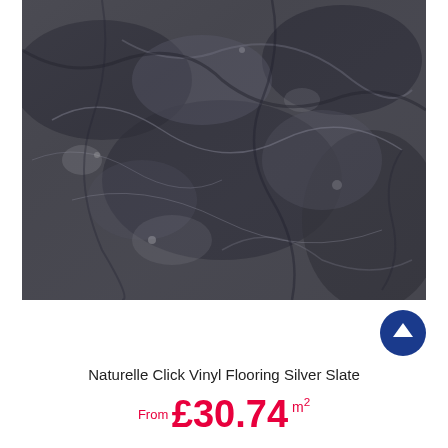[Figure (photo): Close-up photo of silver slate vinyl flooring texture — dark grey stone with lighter grey veining and mottled surface patterns]
[Figure (other): Dark blue circular button with white upward-pointing arrow icon (scroll to top button)]
Naturelle Click Vinyl Flooring Silver Slate
From £30.74 m²